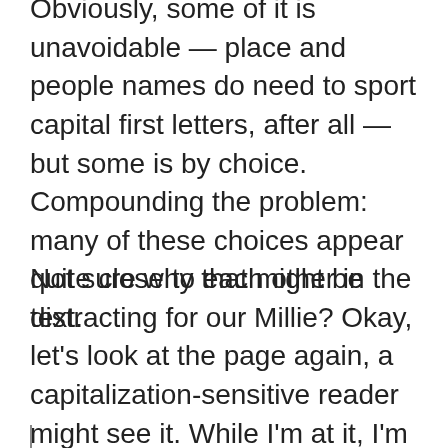Obviously, some of it is unavoidable — place and people names do need to sport capital first letters, after all — but some is by choice. Compounding the problem: many of these choices appear quite close to each other in the text.
Not sure why that might be distracting for our Millie? Okay, let's look at the page again, a capitalization-sensitive reader might see it. While I'm at it, I'm going to highlight the word and phrase repetition as well. See if anything in particular jumps out at you: